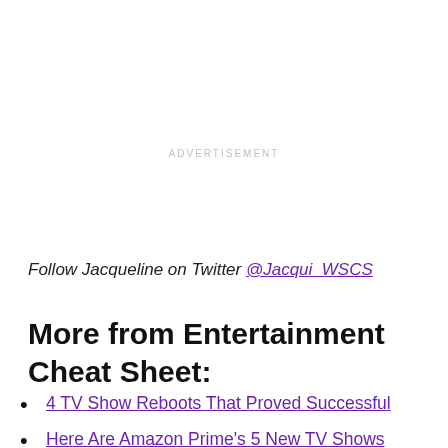ADVERTISEMENT
Follow Jacqueline on Twitter @Jacqui_WSCS
More from Entertainment Cheat Sheet:
4 TV Show Reboots That Proved Successful
Here Are Amazon Prime's 5 New TV Shows
John Oliver Is Set to Be the King of Comedy